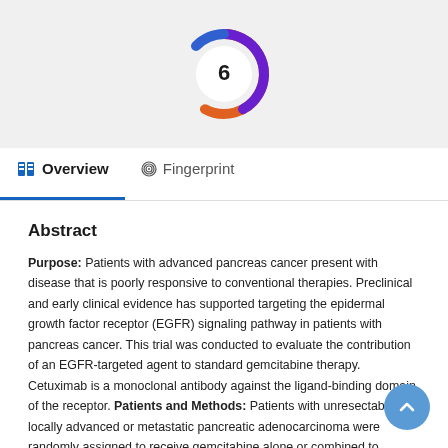[Figure (logo): Circular badge/donut chart showing the number 6, with a gradient ring of purple, blue, and orange colors on a light grey background]
Overview   Fingerprint
Abstract
Purpose: Patients with advanced pancreas cancer present with disease that is poorly responsive to conventional therapies. Preclinical and early clinical evidence has supported targeting the epidermal growth factor receptor (EGFR) signaling pathway in patients with pancreas cancer. This trial was conducted to evaluate the contribution of an EGFR-targeted agent to standard gemcitabine therapy. Cetuximab is a monoclonal antibody against the ligand-binding domain of the receptor. Patients and Methods: Patients with unresectable locally advanced or metastatic pancreatic adenocarcinoma were randomly assigned to receive gemcitabine alone or combined to cetuximab. The